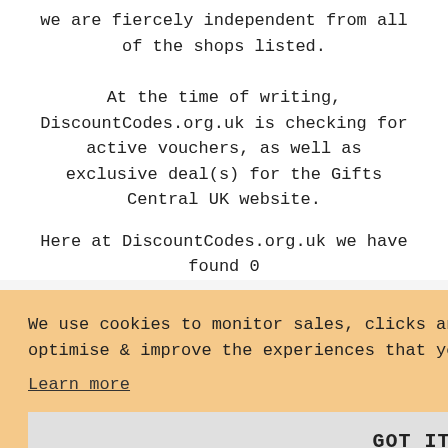we are fiercely independent from all of the shops listed.
At the time of writing, DiscountCodes.org.uk is checking for active vouchers, as well as exclusive deal(s) for the Gifts Central UK website.
Here at DiscountCodes.org.uk we have found 0 of
We use cookies to monitor sales, clicks and marketing performance as well as to optimise & improve the experiences that you receive. Learn more GOT IT!